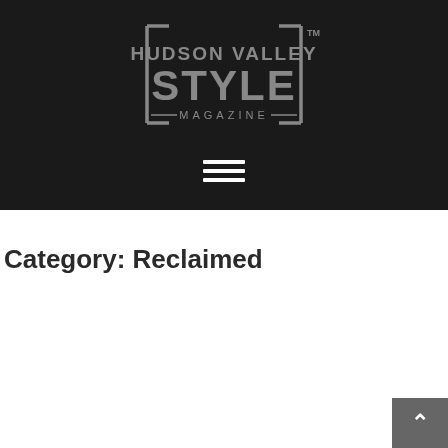[Figure (logo): Hudson Valley Style Magazine logo — white/gray text with bracket decorations on black background, followed by hamburger menu icon]
Category: Reclaimed